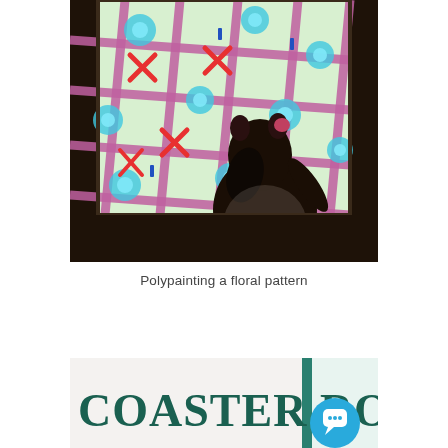[Figure (photo): A child seen from behind wearing a floral outfit and cat ears headband, painting on a large illuminated digital screen displaying a colorful floral geometric pattern with pink grid lines, cyan flowers, and red cross marks on a light green background.]
Polypainting a floral pattern
[Figure (photo): Partial view of a sign reading 'COASTER ROLLERS' in large dark teal serif letters on a white wall, with a teal-framed doorway visible on the right and a blue circular chat/message icon button overlaid in the lower right.]